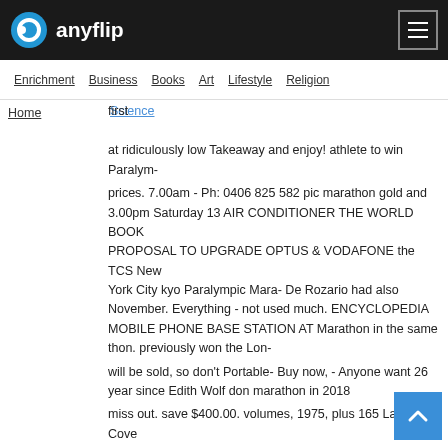anyflip
Enrichment  Business  Books  Art  Lifestyle  Religion
first
at ridiculously low Takeaway and enjoy! athlete to win
Paralym-
prices. 7.00am - Ph: 0406 825 582 pic marathon gold and 3.00pm Saturday 13 AIR CONDITIONER THE WORLD BOOK PROPOSAL TO UPGRADE OPTUS & VODAFONE the TCS New York City kyo Paralympic Mara- De Rozario had also November. Everything - not used much. ENCYCLOPEDIA MOBILE PHONE BASE STATION AT Marathon in the same thon. previously won the Lon-
will be sold, so don't Portable- Buy now, - Anyone want 26 year since Edith Wolf don marathon in 2018
miss out. save $400.00. volumes, 1975, plus 165 Lane Cove Road, North Ryde NSW 2113 with 5G Hunkeler did so in 2008. "This is unreal," she and the World Para Ath-
$175.00. Ph: 0425 370 5 annual updates RFNSA reference: